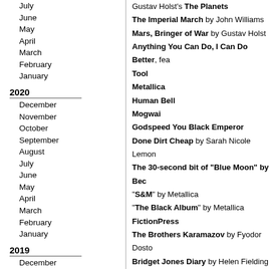July
June
May
April
March
February
January
2020
December
November
October
September
August
July
June
May
April
March
February
January
2019
December
November
October
September
August
July
June
May
April
March
Gustav Holst's The Planets
The Imperial March by John Williams
Mars, Bringer of War by Gustav Holst
Anything You Can Do, I Can Do Better, fea...
Tool
Metallica
Human Bell
Mogwai
Godspeed You Black Emperor
Done Dirt Cheap by Sarah Nicole Lemon
The 30-second bit of "Blue Moon" by Bec...
"S&M" by Metallica
"The Black Album" by Metallica
FictionPress
The Brothers Karamazov by Fyodor Dosto...
Bridget Jones Diary by Helen Fielding
The Devil Wears Prada by Lauren Weisber...
The Hunger Games by Suzanne Collins
Twilight by Stephenie Meyer